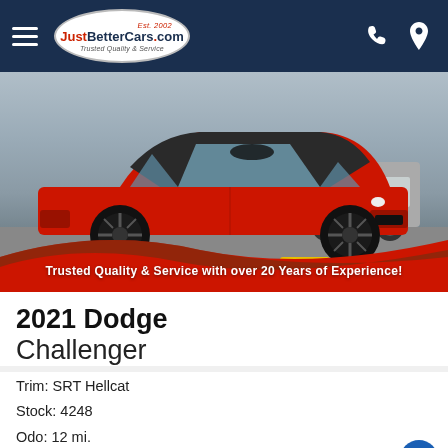JustBetterCars.com — Est. 2002 — Trusted Quality & Service
[Figure (photo): Red 2021 Dodge Challenger SRT Hellcat with black wheels and hood stripe, parked in a dealer lot]
Trusted Quality & Service with over 20 Years of Experience!
2021 Dodge Challenger
Trim: SRT Hellcat
Stock: 4248
Odo: 12 mi.
VIN: 2C3CDZC95MH676501